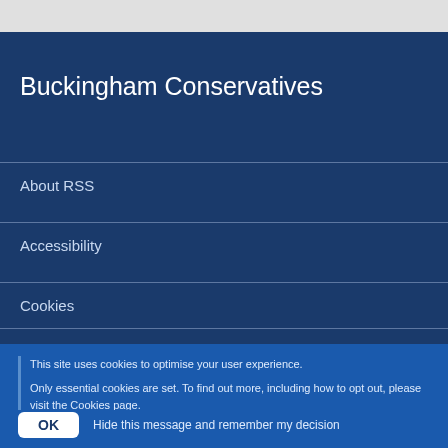Buckingham Conservatives
About RSS
Accessibility
Cookies
This site uses cookies to optimise your user experience.

Only essential cookies are set. To find out more, including how to opt out, please visit the Cookies page.
OK   Hide this message and remember my decision